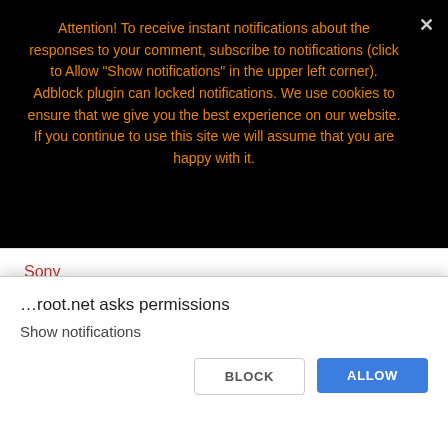Attention! To receive instant notifications about the responses to your comment, subscribe to notifications (click to Allow "Show notifications" in the upper left corner). Adblock plugin can locked notifications. We use cookies to ensure that we give you the best experience on our website. If you continue to use this site we will assume that you are happy with it.
Ok, good
Sony
Texet
I recommend to read
Automation Android
…root.net asks permissions
Show notifications
BLOCK
ALLOW